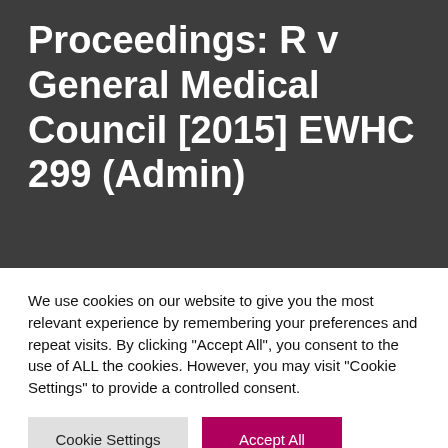Proceedings: R v General Medical Council [2015] EWHC 299 (Admin)
We use cookies on our website to give you the most relevant experience by remembering your preferences and repeat visits. By clicking "Accept All", you consent to the use of ALL the cookies. However, you may visit "Cookie Settings" to provide a controlled consent.